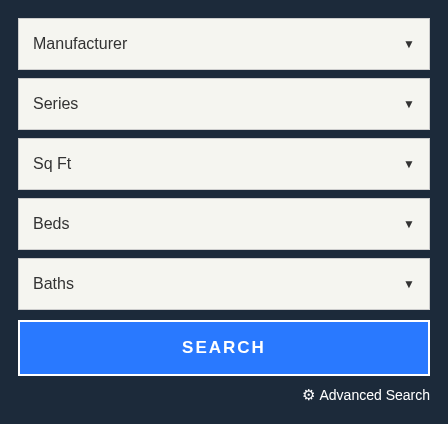Manufacturer
Series
Sq Ft
Beds
Baths
SEARCH
Advanced Search
Built To Order Manufactured Home Floor Plans